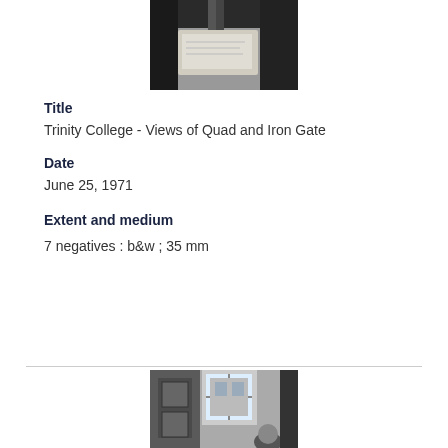[Figure (photo): Black and white photograph showing a partial view of what appears to be a curved architectural element or furniture piece, partially cropped at top of page]
Title
Trinity College - Views of Quad and Iron Gate
Date
June 25, 1971
Extent and medium
7 negatives : b&w ; 35 mm
[Figure (photo): Black and white photograph showing an interior room with windows, a door, and a person partially visible at bottom right, taken at an angle]